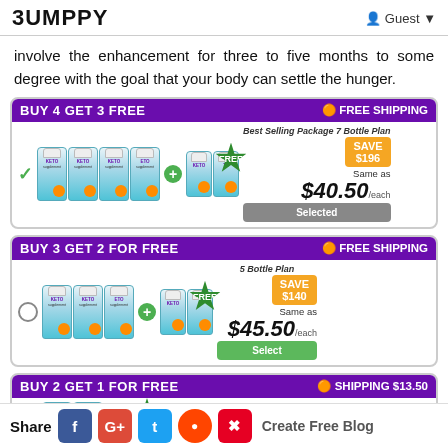BUMPPY  Guest
involve the enhancement for three to five months to some degree with the goal that your body can settle the hunger.
[Figure (infographic): BUY 4 GET 3 FREE offer card with FREE SHIPPING. Best Selling Package 7 Bottle Plan. SAVE $196. Same as $40.50/each. Selected button. Shows 7 keto supplement bottles.]
[Figure (infographic): BUY 3 GET 2 FOR FREE offer card with FREE SHIPPING. 5 Bottle Plan. SAVE $140. Same as $45.50/each. Select button. Shows 5 keto supplement bottles.]
[Figure (infographic): BUY 2 GET 1 FOR FREE offer card with SHIPPING $13.50. 3 Bottle Plan. SAVE $51. Same as pricing. Shows 3 keto supplement bottles with FREE badge.]
Share  f  G+  t  (reddit)  (pinterest)  Create Free Blog